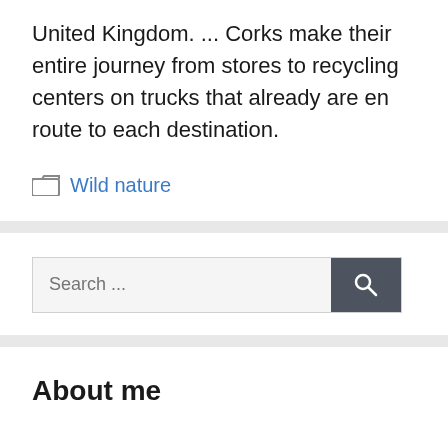United Kingdom. ... Corks make their entire journey from stores to recycling centers on trucks that already are en route to each destination.
Wild nature
Search ...
About me